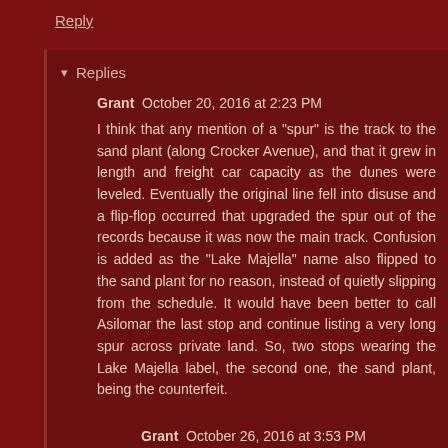Reply
▾ Replies
Grant  October 20, 2016 at 2:23 PM
I think that any mention of a "spur" is the track to the sand plant (along Crocker Avenue), and that it grew in length and freight car capacity as the dunes were leveled. Eventually the original line fell into disuse and a flip-flop occurred that upgraded the spur out of the records because it was now the main track. Confusion is added as the "Lake Majella" name also flipped to the sand plant for no reason, instead of quietly slipping from the schedule. It would have been better to call Asilomar the last stop and continue listing a very long spur across private land. So, two stops wearing the Lake Majella label, the second one, the sand plant, being the counterfeit.
Grant  October 26, 2016 at 3:53 PM